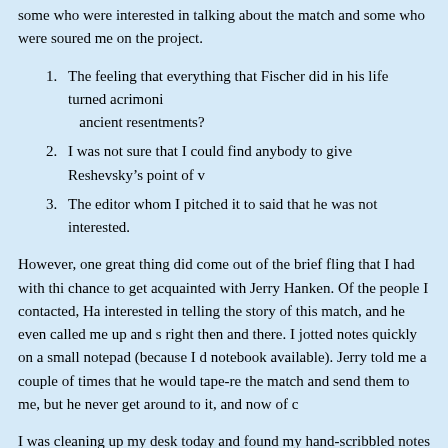some who were interested in talking about the match and some who were soured me on the project.
The feeling that everything that Fischer did in his life turned acrimoni... ancient resentments?
I was not sure that I could find anybody to give Reshevsky’s point of v...
The editor whom I pitched it to said that he was not interested.
However, one great thing did come out of the brief fling that I had with thi... chance to get acquainted with Jerry Hanken. Of the people I contacted, Ha... interested in telling the story of this match, and he even called me up and s... right then and there. I jotted notes quickly on a small notepad (because I d... notebook available). Jerry told me a couple of times that he would tape-re... the match and send them to me, but he never get around to it, and now of c...
I was cleaning up my desk today and found my hand-scribbled notes from... since I’m not going to do anything else with them at this point, I might as... Consider it a tiny glimpse into what must have been a vast trove of memo... along.